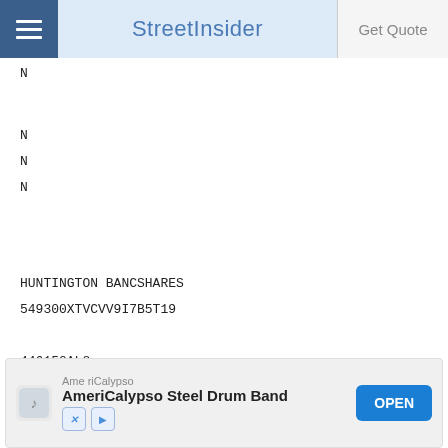StreetInsider
N
N
N
N
HUNTINGTON BANCSHARES
549300XTVCVV9I7B5T19

446150AL8
1000000.00000000
PA
USD
1017500.00000000
[Figure (screenshot): AmeriCalypso advertisement banner with 'AmeriCalypso Steel Drum Band' text and OPEN button]